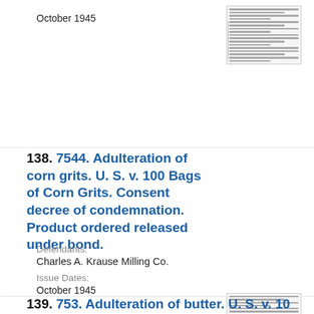October 1945
[Figure (other): Thumbnail image of a document page with dense text]
138. 7544. Adulteration of corn grits. U. S. v. 100 Bags of Corn Grits. Consent decree of condemnation. Product ordered released under bond.
Defendants: Charles A. Krause Milling Co.
Issue Dates: October 1945
[Figure (other): Thumbnail image of a document page with dense text]
139. 753. Adulteration of butter. U. S. v. 10